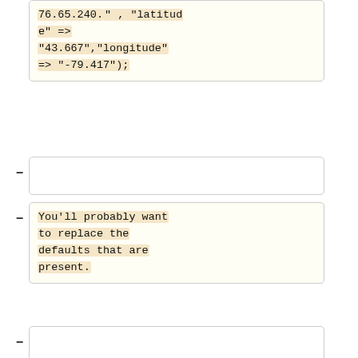76.65.240." , "latitude" =>
"43.667","longitude" => "-79.417");
You'll probably want to replace the defaults that are present.
Note: If you use the 192.x.x.x address range ensure you update the location information before submitting from any machines in this subnet, as the location is stored in